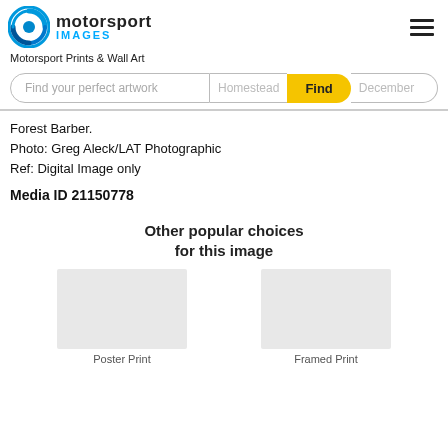[Figure (logo): Motorsport Images logo with blue shutter icon and text]
Motorsport Prints & Wall Art
[Figure (screenshot): Search bar with placeholder 'Find your perfect artwork', ghost text 'Homestead', yellow Find button, ghost text 'December']
Forest Barber.
Photo: Greg Aleck/LAT Photographic
Ref: Digital Image only
Media ID 21150778
Other popular choices for this image
[Figure (photo): Blank thumbnail placeholder for Poster Print]
Poster Print
[Figure (photo): Blank thumbnail placeholder for Framed Print]
Framed Print